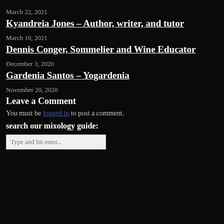March 22, 2021
Kyandreia Jones – Author, writer, and tutor
March 10, 2021
Dennis Conger, Sommelier and Wine Educator
December 3, 2020
Gardenia Santos – Yogardenia
November 20, 2020
Leave a Comment
You must be logged in to post a comment.
search our mixology guide:
Type and hit enter...